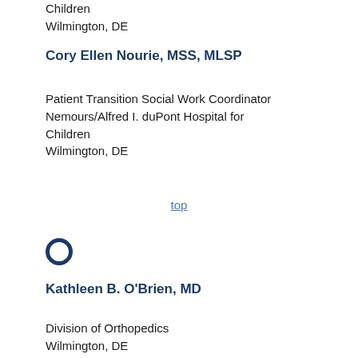Children
Wilmington, DE
Cory Ellen Nourie, MSS, MLSP
Patient Transition Social Work Coordinator
Nemours/Alfred I. duPont Hospital for Children
Wilmington, DE
top
[Figure (other): Dark blue circle outline icon used as a section divider/letter marker]
Kathleen B. O'Brien, MD
Division of Orthopedics
Wilmington, DE